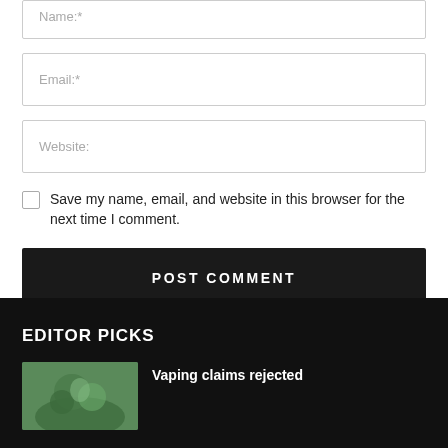Name:*
Email:*
Website:
Save my name, email, and website in this browser for the next time I comment.
POST COMMENT
EDITOR PICKS
[Figure (photo): Small thumbnail photo showing a person or object with green/nature background]
Vaping claims rejected